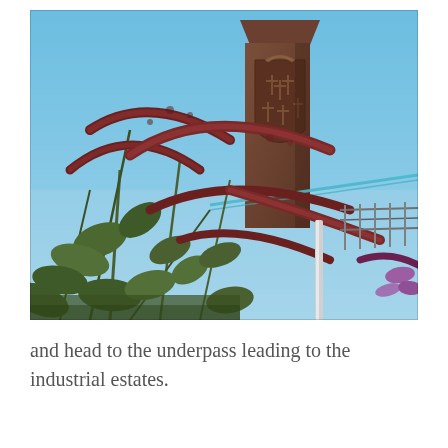[Figure (photo): Outdoor photograph showing large brownish-red flowering plants (buddleia/butterfly bush) with deep red flower spikes in the foreground, and a dark brown stone monument or pillar in the background engraved with a coat of arms featuring a crown at the top and multiple cross symbols. Blue sky is visible behind. A blue cable or wire is visible in the mid-ground.]
and head to the underpass leading to the industrial estates.